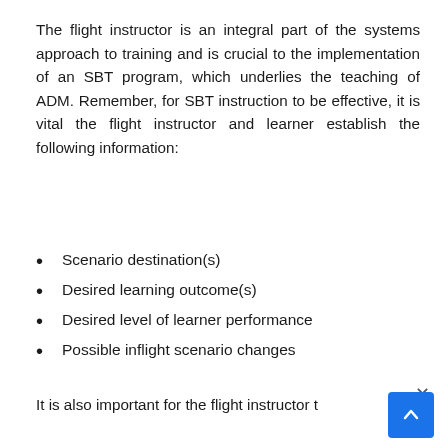The flight instructor is an integral part of the systems approach to training and is crucial to the implementation of an SBT program, which underlies the teaching of ADM. Remember, for SBT instruction to be effective, it is vital the flight instructor and learner establish the following information:
Scenario destination(s)
Desired learning outcome(s)
Desired level of learner performance
Possible inflight scenario changes
It is also important for the flight instructor t